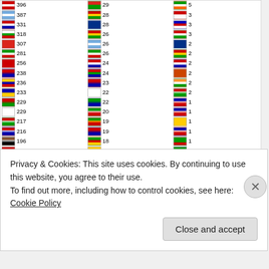[Figure (table-as-image): Flag counter widget showing country flags with visitor counts in three columns. Left column shows flags with counts like 387, 331, 318, 307, 281, 256, 238, 236, 233, 229, 229, 217, 216, 196, 174, 171, 163, 163, 143. Middle column shows flags with counts like 28, 28, 26, 26, 26, 24, 24, 23, 22, 22, 20, 19, 19, 18, 17, 17, 16, 16, 15. Right column shows flags with counts like 3, 3, 3, 2, 2, 2, 2, 2, 2, 1, 1, 1, 1, 1, 1, 1, 1, 1, 1. Bottom shows FLAG counter logo.]
Privacy & Cookies: This site uses cookies. By continuing to use this website, you agree to their use.
To find out more, including how to control cookies, see here: Cookie Policy
Close and accept